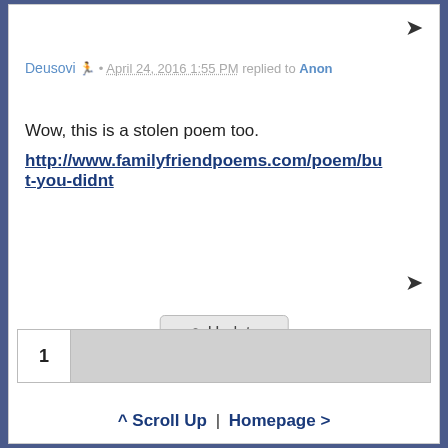Deusovi 🏃 • April 24, 2016 1:55 PM replied to Anon
Wow, this is a stolen poem too.
http://www.familyfriendpoems.com/poem/but-you-didnt
⟳ Update
1
^ Scroll Up | Homepage >